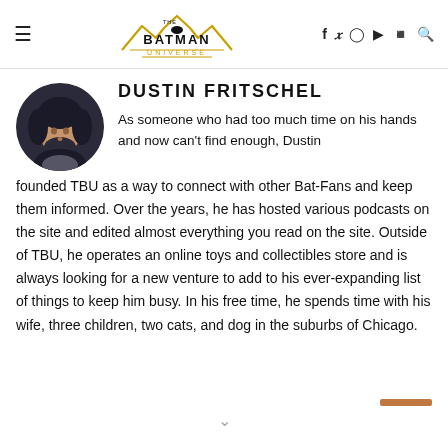The Batman Universe — navigation header with hamburger menu, logo, social icons (f, Twitter, Instagram, YouTube, Discord) and search
DUSTIN FRITSCHEL
[Figure (illustration): Circular avatar portrait of a dark-haired bearded male comic book character]
As someone who had too much time on his hands and now can't find enough, Dustin founded TBU as a way to connect with other Bat-Fans and keep them informed. Over the years, he has hosted various podcasts on the site and edited almost everything you read on the site. Outside of TBU, he operates an online toys and collectibles store and is always looking for a new venture to add to his ever-expanding list of things to keep him busy. In his free time, he spends time with his wife, three children, two cats, and dog in the suburbs of Chicago.